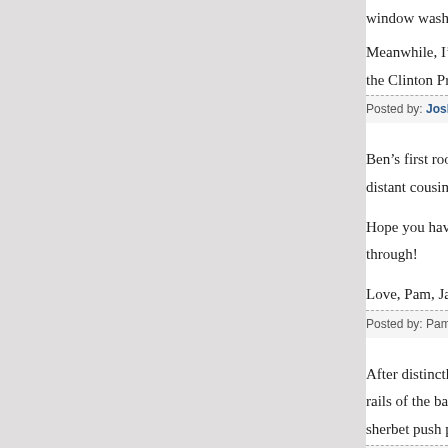window washer, but was incensed at the "Becaus
Meanwhile, I'm filling out a bingo card of jokes an the Clinton Presidential Museum.
Posted by: Joshua Hatch | March 22, 2009 at 04:20 PM
Ben's first roommate at Oglethorpe University wa distant cousin)!
Hope you have the theme song to the musical Ok through!
Love, Pam, Jack & Boys & Dogs
Posted by: Pam Williams | March 22, 2009 at 04:21 PM
After distinctly remembering what it felt like to hav rails of the banister as a kid, I'm with Fred here. N sherbet push pops would coax me out without a f
Posted by: Susan Poulton | March 22, 2009 at 04:24 PM
I kept waiting for the photos of Jim holding up the